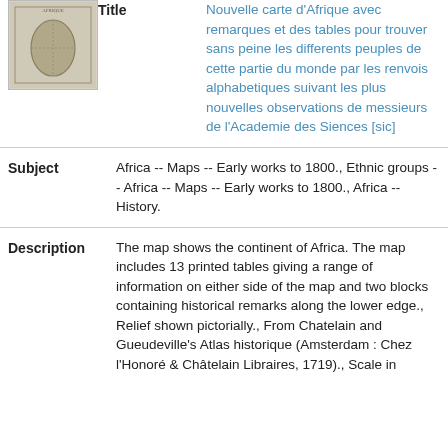[Figure (illustration): Small thumbnail image of an antique map of Africa]
Title
Nouvelle carte d'Afrique avec remarques et des tables pour trouver sans peine les differents peuples de cette partie du monde par les renvois alphabetiques suivant les plus nouvelles observations de messieurs de l'Academie des Siences [sic]
Subject
Africa -- Maps -- Early works to 1800., Ethnic groups -- Africa -- Maps -- Early works to 1800., Africa -- History.
Description
The map shows the continent of Africa. The map includes 13 printed tables giving a range of information on either side of the map and two blocks containing historical remarks along the lower edge., Relief shown pictorially., From Chatelain and Gueudeville's Atlas historique (Amsterdam : Chez l'Honoré & Châtelain Libraires, 1719)., Scale in